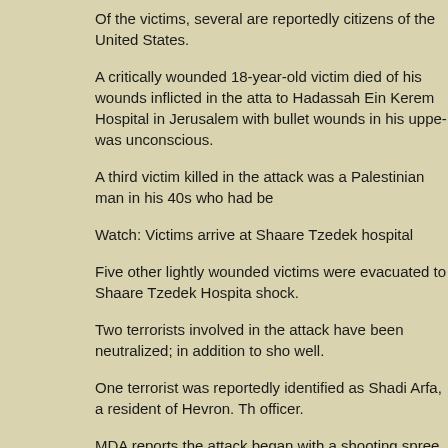Of the victims, several are reportedly citizens of the United States.
A critically wounded 18-year-old victim died of his wounds inflicted in the attack to Hadassah Ein Kerem Hospital in Jerusalem with bullet wounds in his upper body and was unconscious.
A third victim killed in the attack was a Palestinian man in his 40s who had be...
Watch: Victims arrive at Shaare Tzedek hospital
Five other lightly wounded victims were evacuated to Shaare Tzedek Hospital... shock.
Two terrorists involved in the attack have been neutralized; in addition to sho... well.
One terrorist was reportedly identified as Shadi Arfa, a resident of Hevron. Th... officer.
MDA reports the attack began with a shooting spree on cars at Tzomet Geva... Junction and ran over at least one other person.
Video from the scene of the attack shows the terrorists being apprehended by...
The attack brings the death toll in terrorist attacks Thursday to five. It occurred where an Arab terrorist from the Hevron region murdered two Jews at prayer...
The terrorist in that attack had received a work permit from the security services south of Tel Aviv.
Click on link for videos and pictures: